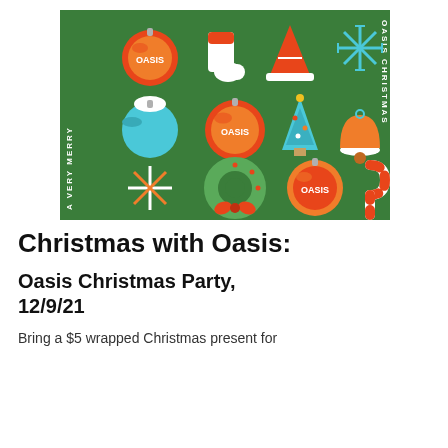[Figure (illustration): A Very Merry Oasis Christmas branded holiday card with green background, featuring Christmas icons: ornament balls with OASIS text, stocking, party hat, snowflake/firework, blue ornament, Christmas tree, bell, snowflake star, wreath with bow, candy cane. Text on left side reads 'A VERY MERRY' and right side 'OASIS CHRISTMAS' rotated vertically.]
Christmas with Oasis:
Oasis Christmas Party, 12/9/21
Bring a $5 wrapped Christmas present for